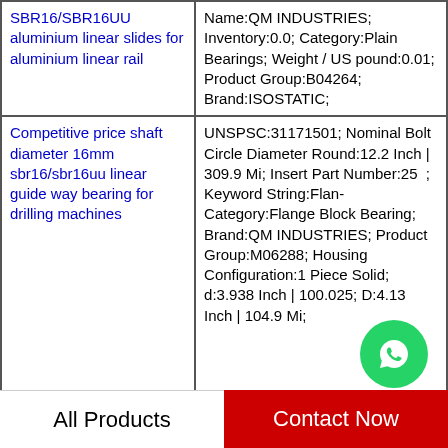| Product | Details |
| --- | --- |
| SBR16/SBR16UU aluminium linear slides for aluminium linear rail | Name:QM INDUSTRIES; Inventory:0.0; Category:Plain Bearings; Weight / US pound:0.01; Product Group:B04264; Brand:ISOSTATIC; |
| Competitive price shaft diameter 16mm sbr16/sbr16uu linear guide way bearing for drilling machines | UNSPSC:31171501; Nominal Bolt Circle Diameter Round:12.2 Inch | 309.9 Mi; Insert Part Number:25...; Keyword String:Flan...; Category:Flange Block Bearing; Brand:QM INDUSTRIES; Product Group:M06288; Housing Configuration:1 Piece Solid; d:3.938 Inch | 100.025; D:4.13 Inch | 104.9 Mi; |
|  | Inch - Metric:Inch; |
All Products    Contact Now